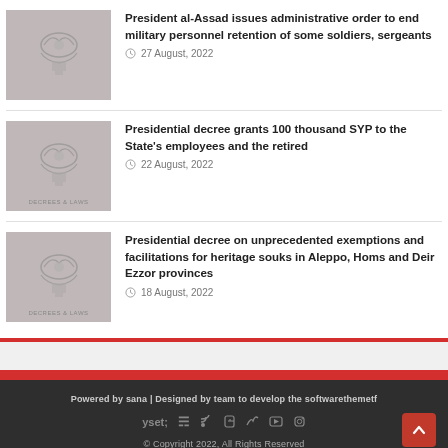[Figure (photo): Thumbnail image with Syrian eagle emblem, grayscale]
President al-Assad issues administrative order to end military personnel retention of some soldiers, sergeants
27 August, 2022
[Figure (photo): Thumbnail image with Syrian eagle emblem and 'Decrees & Laws' text, grayscale]
Presidential decree grants 100 thousand SYP to the State's employees and the retired
22 August, 2022
[Figure (photo): Thumbnail image with Syrian eagle emblem and 'Decrees & Laws' text, grayscale]
Presidential decree on unprecedented exemptions and facilitations for heritage souks in Aleppo, Homs and Deir Ezzor provinces
18 August, 2022
Powered by sana | Designed by team to develop the softwarethemetf
© Copyright 2022, All Rights Reserved